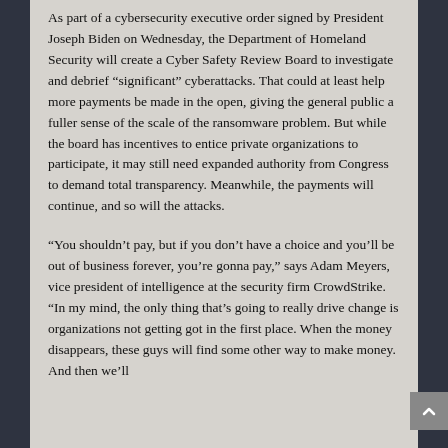As part of a cybersecurity executive order signed by President Joseph Biden on Wednesday, the Department of Homeland Security will create a Cyber Safety Review Board to investigate and debrief “significant” cyberattacks. That could at least help more payments be made in the open, giving the general public a fuller sense of the scale of the ransomware problem. But while the board has incentives to entice private organizations to participate, it may still need expanded authority from Congress to demand total transparency. Meanwhile, the payments will continue, and so will the attacks.
“You shouldn’t pay, but if you don’t have a choice and you’ll be out of business forever, you’re gonna pay,” says Adam Meyers, vice president of intelligence at the security firm CrowdStrike. “In my mind, the only thing that’s going to really drive change is organizations not getting got in the first place. When the money disappears, these guys will find some other way to make money. And then we’ll